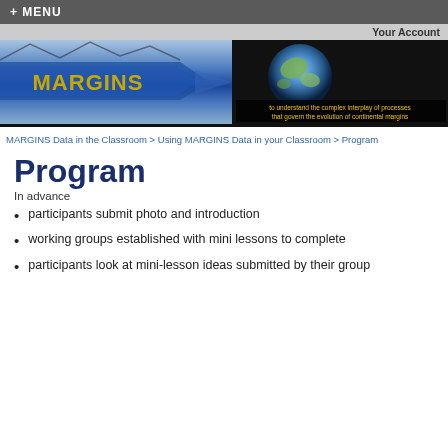+ MENU
Your Account
[Figure (logo): MARGINS program logo banner with blue streamer design and globe image with text 'to understand the complex interplay of processes that govern the evolution of continental margins']
MARGINS Data in the Classroom > Using MARGINS Data in your Classroom > Program
Program
In advance
participants submit photo and introduction
working groups established with mini lessons to complete
participants look at mini-lesson ideas submitted by their group